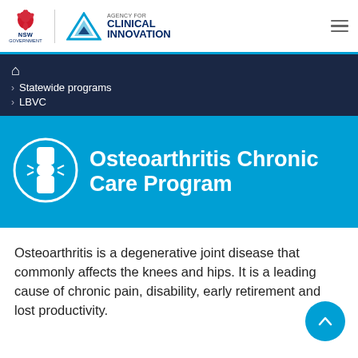[Figure (logo): NSW Government and Agency for Clinical Innovation logos with hamburger menu]
Home > Statewide programs > LBVC
Osteoarthritis Chronic Care Program
Osteoarthritis is a degenerative joint disease that commonly affects the knees and hips. It is a leading cause of chronic pain, disability, early retirement and lost productivity.